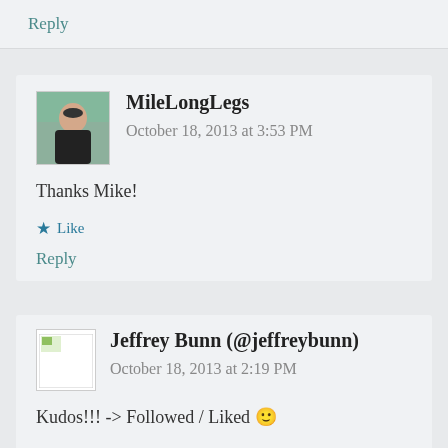Reply
MileLongLegs   October 18, 2013 at 3:53 PM
Thanks Mike!
★ Like
Reply
Jeffrey Bunn (@jeffreybunn)   October 18, 2013 at 2:19 PM
Kudos!!! -> Followed / Liked 🙂